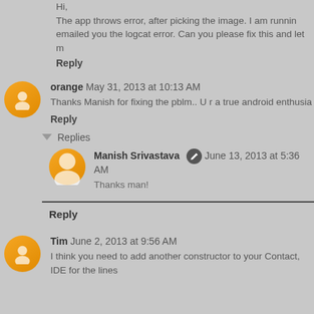Hi,
The app throws error, after picking the image. I am running... emailed you the logcat error. Can you please fix this and let m...
Reply
orange  May 31, 2013 at 10:13 AM
Thanks Manish for fixing the pblm.. U r a true android enthusia...
Reply
Replies
Manish Srivastava  June 13, 2013 at 5:36 AM
Thanks man!
Reply
Tim  June 2, 2013 at 9:56 AM
I think you need to add another constructor to your Contact... IDE for the lines